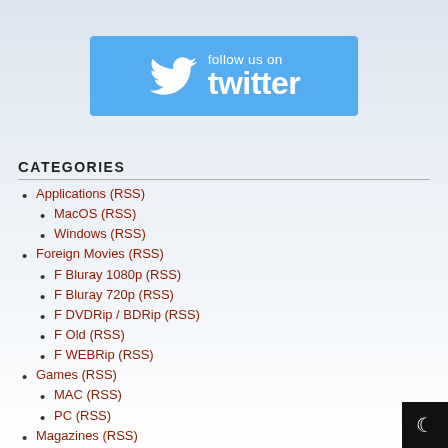[Figure (logo): Follow us on Twitter banner with Twitter bird logo, white text on sky-blue background]
Categories
Applications (RSS)
MacOS (RSS)
Windows (RSS)
Foreign Movies (RSS)
F Bluray 1080p (RSS)
F Bluray 720p (RSS)
F DVDRip / BDRip (RSS)
F Old (RSS)
F WEBRip (RSS)
Games (RSS)
MAC (RSS)
PC (RSS)
Magazines (RSS)
Movies (RSS)
3D (RSS)
4k UHD (RSS)
BDRip (RSS)